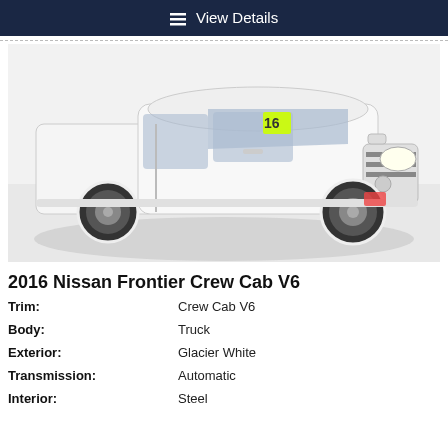View Details
[Figure (photo): White 2016 Nissan Frontier Crew Cab V6 pickup truck parked in a showroom with gray floor and white walls, viewed from the front-left side. A yellow '16 sticker is visible on the windshield.]
2016 Nissan Frontier Crew Cab V6
| Label | Value |
| --- | --- |
| Trim: | Crew Cab V6 |
| Body: | Truck |
| Exterior: | Glacier White |
| Transmission: | Automatic |
| Interior: | Steel |